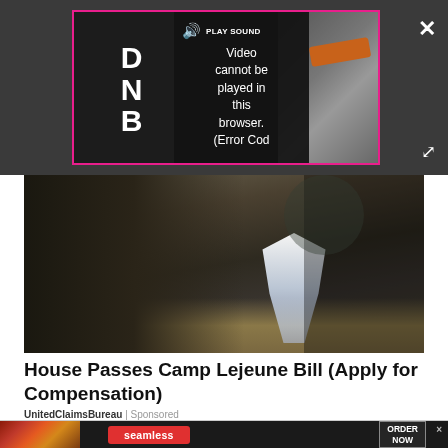[Figure (screenshot): Video player with error overlay showing 'PLAY SOUND Video cannot be played in this browser. (Error Cod' message, with pink/magenta border, close X button and expand arrow buttons]
[Figure (photo): Military personnel in camouflage uniform bending over with water spraying from a hose on a sandy/dirt ground]
House Passes Camp Lejeune Bill (Apply for Compensation)
UnitedClaimsBureau | Sponsored
[Figure (screenshot): Seamless food delivery advertisement banner showing pizza image on left, Seamless red logo in center, and ORDER NOW button on right, against dark background]